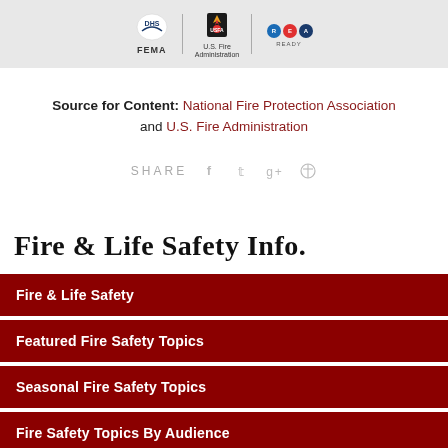[Figure (logo): Header banner with FEMA, U.S. Fire Administration, and Ready.gov logos on a light gray background]
Source for Content: National Fire Protection Association and U.S. Fire Administration
[Figure (infographic): Share row with SHARE label and social media icons: Facebook, Twitter, Google+, Pinterest]
Fire & Life Safety Info.
Fire & Life Safety
Featured Fire Safety Topics
Seasonal Fire Safety Topics
Fire Safety Topics By Audience